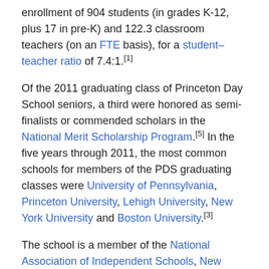enrollment of 904 students (in grades K-12, plus 17 in pre-K) and 122.3 classroom teachers (on an FTE basis), for a student–teacher ratio of 7.4:1.[1]
Of the 2011 graduating class of Princeton Day School seniors, a third were honored as semi-finalists or commended scholars in the National Merit Scholarship Program.[5] In the five years through 2011, the most common schools for members of the PDS graduating classes were University of Pennsylvania, Princeton University, Lehigh University, New York University and Boston University.[3]
The school is a member of the National Association of Independent Schools, New Jersey Association of Independent Schools[6] and the Association of Delaware Valley Independent Schools.[7]